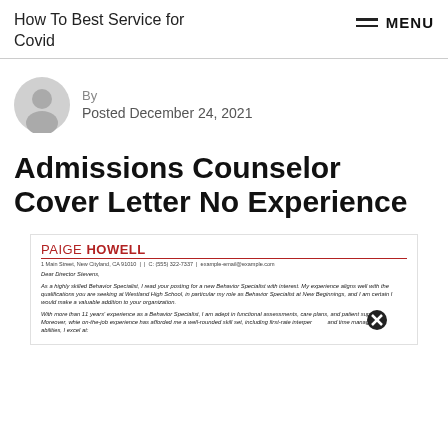How To Best Service for Covid
By
Posted December 24, 2021
Admissions Counselor Cover Letter No Experience
[Figure (screenshot): Preview of a cover letter for Paige Howell, Behavior Specialist, addressed to Director Stevens. The letter mentions experience as a Behavior Specialist at New Beginnings and at Westland High School, and mentions 11 years of experience.]